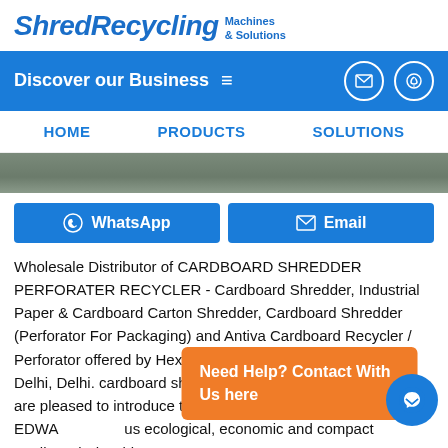ShredRecycling Machines & Solutions
Discover our Business
HOME   PRODUCTS   SOLUTIONS
WhatsApp   Email
Wholesale Distributor of CARDBOARD SHREDDER PERFORATER RECYCLER - Cardboard Shredder, Industrial Paper & Cardboard Carton Shredder, Cardboard Shredder (Perforator For Packaging) and Antiva Cardboard Recycler / Perforator offered by Hexadecimal System & Services, New Delhi, Delhi. cardboard shredders cardboard shredders. We are pleased to introduce the range of all ard Shredder series EDWA... ...us ecological, economic and compact cardboard Shredder. Now
Need Help? Contact With Us here